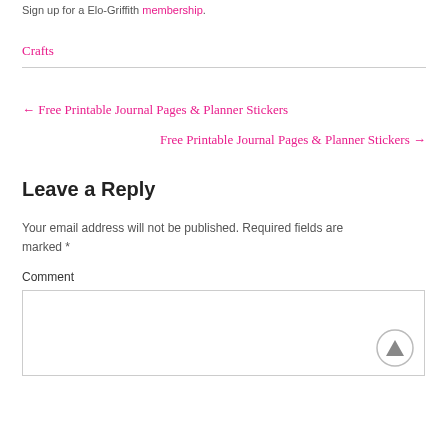Sign up for a Elo-Griffith membership.
Crafts
← Free Printable Journal Pages & Planner Stickers
Free Printable Journal Pages & Planner Stickers →
Leave a Reply
Your email address will not be published. Required fields are marked *
Comment